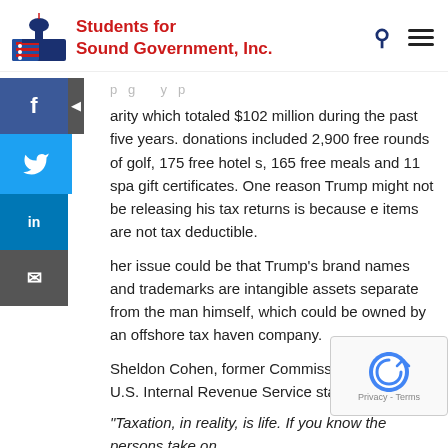Students for Sound Government, Inc.
arity which totaled $102 million during the past five years. donations included 2,900 free rounds of golf, 175 free hotel s, 165 free meals and 11 spa gift certificates. One reason Trump might not be releasing his tax returns is because e items are not tax deductible.
her issue could be that Trump's brand names and trademarks are intangible assets separate from the man himself, which could be owned by an offshore tax haven company.
Sheldon Cohen, former Commissioner of the U.S. Internal Revenue Service stated:
“Taxation, in reality, is life. If you know the persons take on